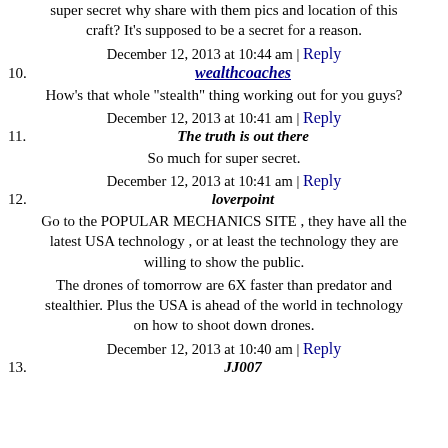super secret why share with them pics and location of this craft? It's supposed to be a secret for a reason.
December 12, 2013 at 10:44 am | Reply
10. wealthcoaches
How's that whole "stealth" thing working out for you guys?
December 12, 2013 at 10:41 am | Reply
11. The truth is out there
So much for super secret.
December 12, 2013 at 10:41 am | Reply
12. loverpoint
Go to the POPULAR MECHANICS SITE , they have all the latest USA technology , or at least the technology they are willing to show the public.
The drones of tomorrow are 6X faster than predator and stealthier. Plus the USA is ahead of the world in technology on how to shoot down drones.
December 12, 2013 at 10:40 am | Reply
13. JJ007